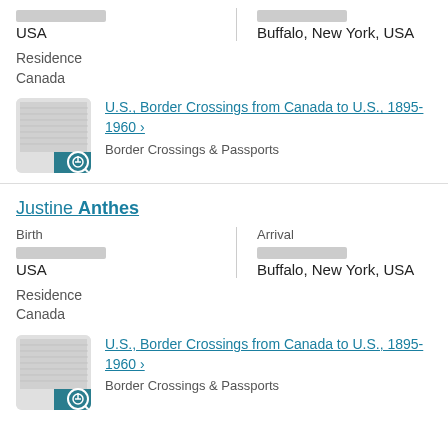USA
Buffalo, New York, USA
Residence
Canada
U.S., Border Crossings from Canada to U.S., 1895-1960 ›
Border Crossings & Passports
Justine Anthes
Birth
Arrival
USA
Buffalo, New York, USA
Residence
Canada
U.S., Border Crossings from Canada to U.S., 1895-1960 ›
Border Crossings & Passports